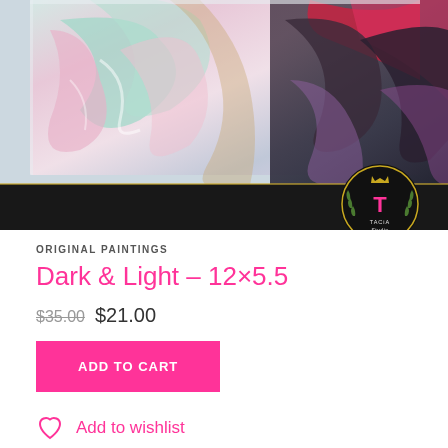[Figure (photo): Product image of an abstract fluid art painting with swirling pink, teal, white, and dark colors on a canvas. A dark bar at the bottom features the TACiA Studio logo — a circular gold and black badge with a pink 'T' and laurel wreath.]
ORIGINAL PAINTINGS
Dark & Light – 12×5.5
$35.00 $21.00
ADD TO CART
Add to wishlist